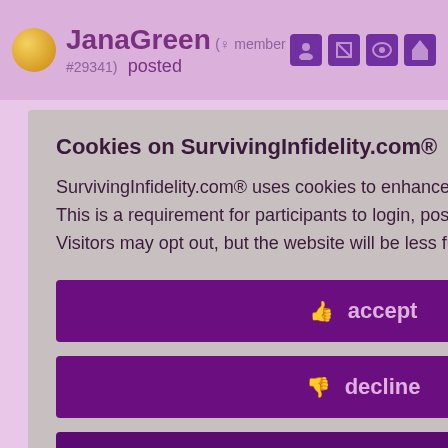JanaGreen (♀ member #29341) posted
but after
out on a date
elf single and
quickly end up
'm zero help.
Cookies on SurvivingInfidelity.com®
SurvivingInfidelity.com® uses cookies to enhance your visit to our website. This is a requirement for participants to login, post and use other features. Visitors may opt out, but the website will be less functional for you.
👍 accept
👎 decline
🍪 about cookies
id 8735744
Policy